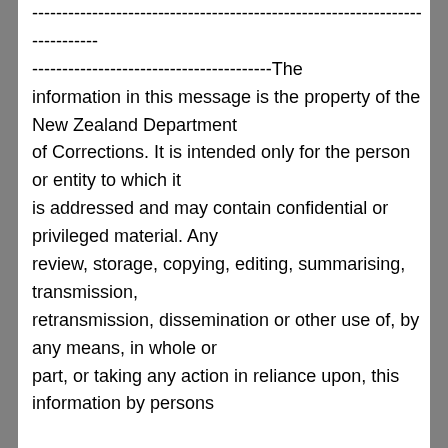---------------------------------------------------------------------------- ----------------------------------------The information in this message is the property of the New Zealand Department of Corrections. It is intended only for the person or entity to which it is addressed and may contain confidential or privileged material. Any review, storage, copying, editing, summarising, transmission, retransmission, dissemination or other use of, by any means, in whole or part, or taking any action in reliance upon, this information by persons